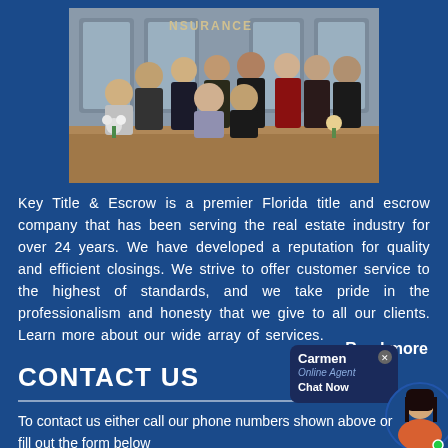[Figure (photo): Group photo of Key Title & Escrow staff standing in front of an insurance office counter with 'INSURANCE' sign visible in background]
Key Title & Escrow is a premier Florida title and escrow company that has been serving the real estate industry for over 24 years. We have developed a reputation for quality and efficient closings. We strive to offer customer service to the highest of standards, and we take pride in the professionalism and honesty that we give to all our clients. Learn more about our wide array of services.
Read more
CONTACT US
[Figure (screenshot): Chat widget showing agent Carmen (Online Agent) with Chat Now button, phone numbers 575-2447 and 1(00...)006, and a circular photo of a female agent]
To contact us either call our phone numbers shown above or fill out the form below